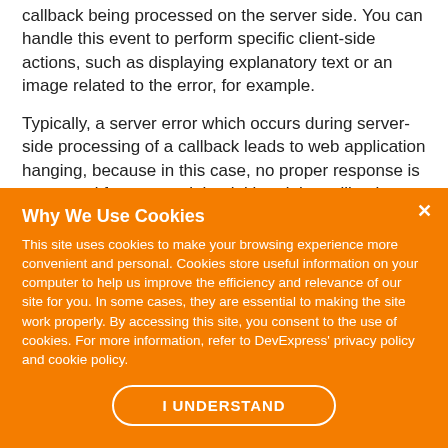callback being processed on the server side. You can handle this event to perform specific client-side actions, such as displaying explanatory text or an image related to the error, for example.
Typically, a server error which occurs during server-side processing of a callback leads to web application hanging, because in this case, no proper response is generated for a control that initiated the callback. However, AJAX-enabled web controls from the
Why We Use Cookies
This site uses cookies to make your browsing experience more convenient and personal. Cookies store useful information on your computer to help us improve the efficiency and relevance of our site for you. In some cases, they are essential to making the site work properly. By accessing this site, you consent to the use of cookies. For more information, refer to DevExpress' privacy policy and cookie policy.
I UNDERSTAND